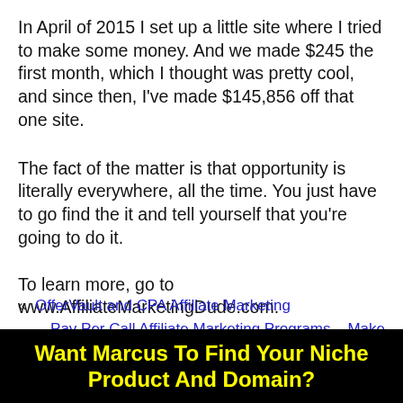In April of 2015 I set up a little site where I tried to make some money. And we made $245 the first month, which I thought was pretty cool, and since then, I've made $145,856 off that one site.
The fact of the matter is that opportunity is literally everywhere, all the time. You just have to go find the it and tell yourself that you're going to do it.
To learn more, go to www.AffiliateMarketingDude.com.
« OfferVault and CPA Affiliate Marketing
Pay Per Call Affiliate Marketing Programs – Make Money »
Want Marcus To Find Your Niche Product And Domain?